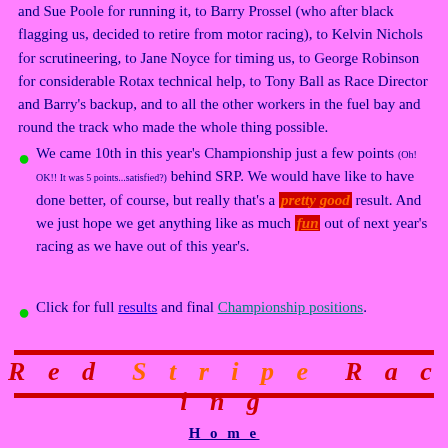and Sue Poole for running it, to Barry Prossel (who after black flagging us, decided to retire from motor racing), to Kelvin Nichols for scrutineering, to Jane Noyce for timing us, to George Robinson for considerable Rotax technical help, to Tony Ball as Race Director and Barry's backup, and to all the other workers in the fuel bay and round the track who made the whole thing possible.
We came 10th in this year's Championship just a few points (Oh! OK!! It was 5 points...satisfied?) behind SRP. We would have like to have done better, of course, but really that's a pretty good result. And we just hope we get anything like as much fun out of next year's racing as we have out of this year's.
Click for full results and final Championship positions.
Red Stripe Racing
Home